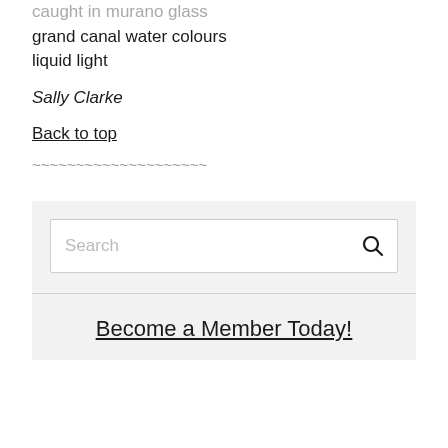caught in murano glass
grand canal water colours
liquid light
Sally Clarke
Back to top
~~~~~~~~~~~~~~~~~~~~
Search
Become a Member Today!